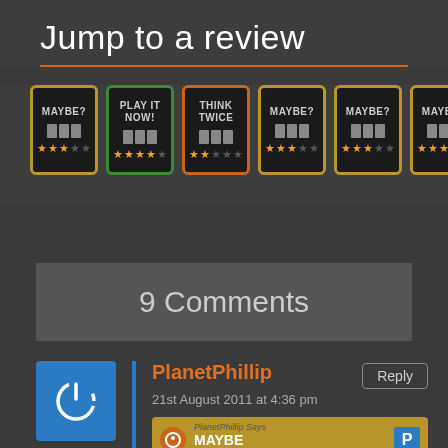Jump to a review
[Figure (infographic): Six review badge icons in a row: MAYBE? (gold border, 3 stars), PLAY IT NOW! (green border, 4 stars), THINK TWICE (orange border, 2 stars), MAYBE? (gold border, 3 stars), MAYBE? (gold border, 3 stars), MAYBE? (gold border, 3 stars)]
9 Comments
PlanetPhillip
21st August 2011 at 4:36 pm
[Figure (infographic): PlanetPhillip Says badge showing MAYBE rating with stars]